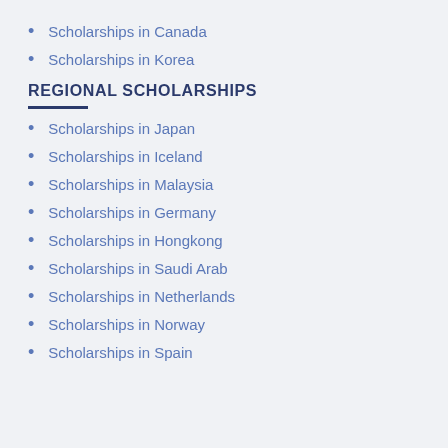Scholarships in Canada
Scholarships in Korea
REGIONAL SCHOLARSHIPS
Scholarships in Japan
Scholarships in Iceland
Scholarships in Malaysia
Scholarships in Germany
Scholarships in Hongkong
Scholarships in Saudi Arab
Scholarships in Netherlands
Scholarships in Norway
Scholarships in Spain